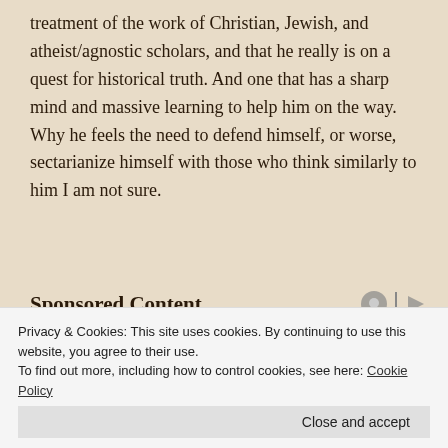treatment of the work of Christian, Jewish, and atheist/agnostic scholars, and that he really is on a quest for historical truth. And one that has a sharp mind and massive learning to help him on the way. Why he feels the need to defend himself, or worse, sectarianize himself with those who think similarly to him I am not sure.
Sponsored Content
[Figure (illustration): Marvel Strike Force game advertisement banner showing animated characters against a green and purple background with the Marvel Strike Force logo.]
Privacy & Cookies: This site uses cookies. By continuing to use this website, you agree to their use.
To find out more, including how to control cookies, see here: Cookie Policy
Close and accept